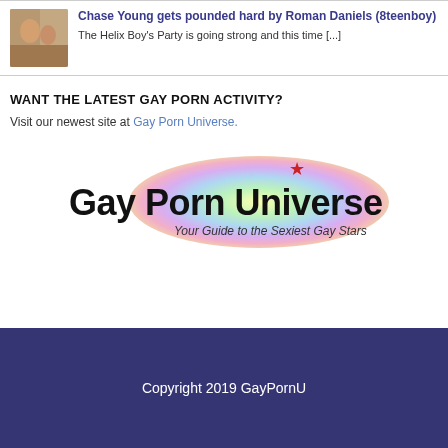Chase Young gets pounded hard by Roman Daniels (8teenboy)
The Helix Boy's Party is going strong and this time [...]
WANT THE LATEST GAY PORN ACTIVITY?
Visit our newest site at Gay Porn Universe.
[Figure (logo): Gay Porn Universe logo with rainbow ellipse background and red star, tagline: Your Guide to the Sexiest Gay Stars]
Copyright 2019 GayPornU